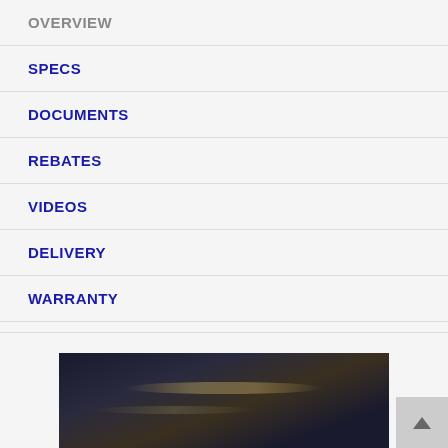OVERVIEW
SPECS
DOCUMENTS
REBATES
VIDEOS
DELIVERY
WARRANTY
REVIEWS (194)
[Figure (photo): Dark product image, partially visible, showing a dark metallic or appliance surface with subtle reflections and warm highlights]